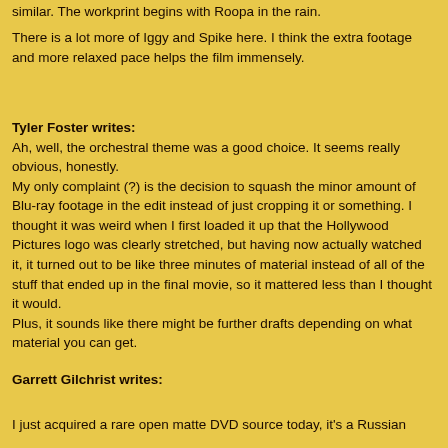similar. The workprint begins with Roopa in the rain.
There is a lot more of Iggy and Spike here. I think the extra footage and more relaxed pace helps the film immensely.
Tyler Foster writes:
Ah, well, the orchestral theme was a good choice. It seems really obvious, honestly.
My only complaint (?) is the decision to squash the minor amount of Blu-ray footage in the edit instead of just cropping it or something. I thought it was weird when I first loaded it up that the Hollywood Pictures logo was clearly stretched, but having now actually watched it, it turned out to be like three minutes of material instead of all of the stuff that ended up in the final movie, so it mattered less than I thought it would.
Plus, it sounds like there might be further drafts depending on what material you can get.
Garrett Gilchrist writes:
I just acquired a rare open matte DVD source today, it's a Russian